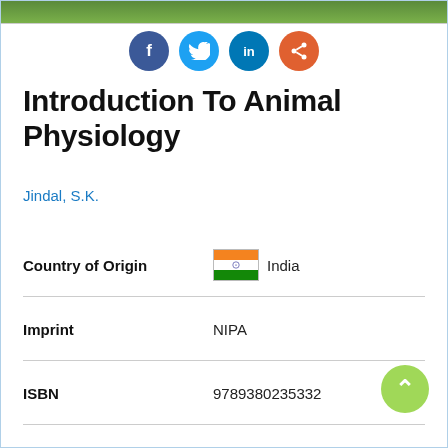[Figure (illustration): Green grass/nature image strip at top of page]
[Figure (illustration): Social media sharing icons: Facebook (blue circle with f), Twitter (light blue circle with bird), LinkedIn (dark blue circle with in), Share (orange circle with share icon)]
Introduction To Animal Physiology
Jindal, S.K.
| Field | Value |
| --- | --- |
| Country of Origin | India |
| Imprint | NIPA |
| ISBN | 9789380235332 |
| Binding | HB |